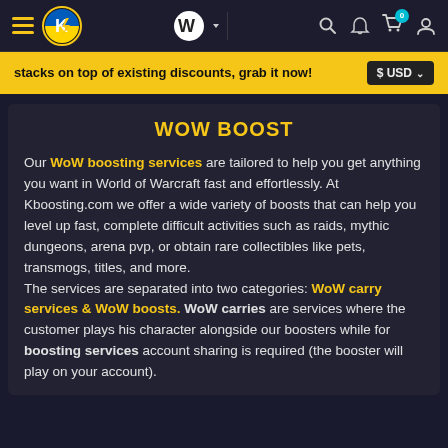[Figure (screenshot): Website navigation header with hamburger menu, K lightning bolt logo, Wowhead logo with caret, search icon, bell icon, cart icon with badge '0', and user icon]
stacks on top of existing discounts, grab it now!  $ USD
WOW BOOST
Our WoW boosting services are tailored to help you get anything you want in World of Warcraft fast and effortlessly. At Kboosting.com we offer a wide variety of boosts that can help you level up fast, complete difficult activities such as raids, mythic dungeons, arena pvp, or obtain rare collectibles like pets, transmogs, titles, and more.
The services are separated into two categories: WoW carry services & WoW boosts. WoW carries are services where the customer plays his character alongside our boosters while for boosting services account sharing is required (the booster will play on your account).